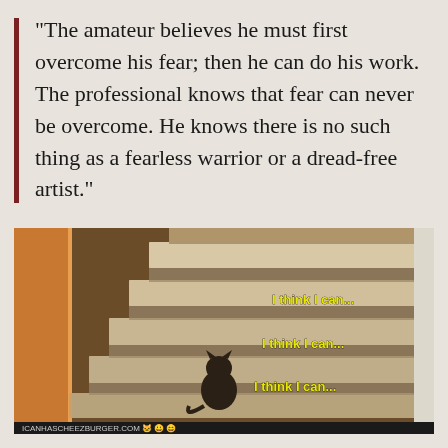“The amateur believes he must first overcome his fear; then he can do his work. The professional knows that fear can never be overcome. He knows there is no such thing as a fearless warrior or a dread-free artist.”
[Figure (photo): A small kitten sitting at the bottom of a carpeted staircase looking up. The stairs are tan/beige carpet with white painted sides. Text overlaid on the image reads 'I think I can...' three times at different positions going up the stairs. The bottom of the image has a dark bar with 'ICANHASCHEEZBURGER.COM' watermark.]